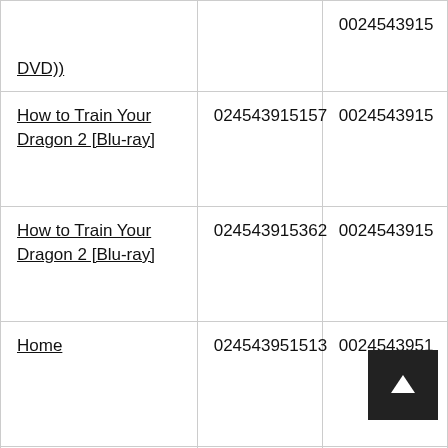| Title | ASIN | UPC |
| --- | --- | --- |
| DVD)) |  | 0024543915... |
| How to Train Your Dragon 2 [Blu-ray] | 024543915157 | 0024543915... |
| How to Train Your Dragon 2 [Blu-ray] | 024543915362 | 0024543915... |
| Home | 024543951513 | 0024543951... |
| Home (Blu-ray + DVD) | 024543951568 | 0024543951... |
| Home [Blu-ray] | 024543951568 | 0024543951... |
| Home [Blu-ray] | 024543951612 | 0024543951... |